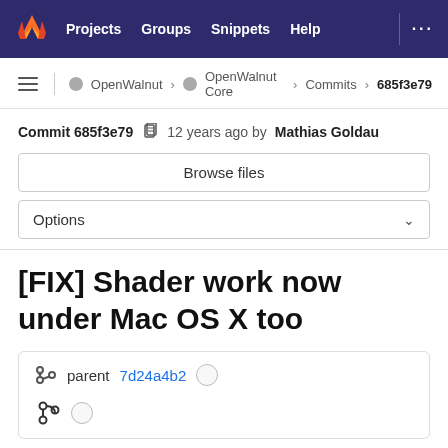Projects  Groups  Snippets  Help
OpenWalnut > OpenWalnut Core > Commits > 685f3e79
Commit 685f3e79  12 years ago by Mathias Goldau
Browse files
Options
[FIX] Shader work now under Mac OS X too
parent 7d24a4b2